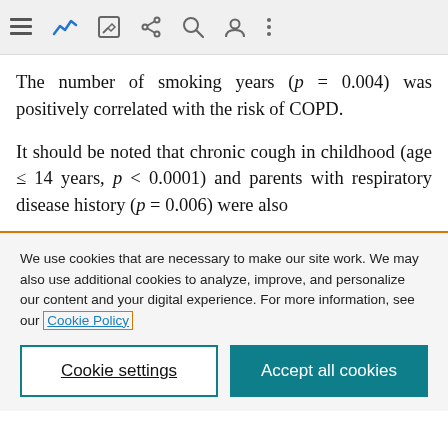[Browser toolbar with navigation icons]
The number of smoking years (p = 0.004) was positively correlated with the risk of COPD.
It should be noted that chronic cough in childhood (age ≤ 14 years, p < 0.0001) and parents with respiratory disease history (p = 0.006) were also
We use cookies that are necessary to make our site work. We may also use additional cookies to analyze, improve, and personalize our content and your digital experience. For more information, see our Cookie Policy
Cookie settings
Accept all cookies